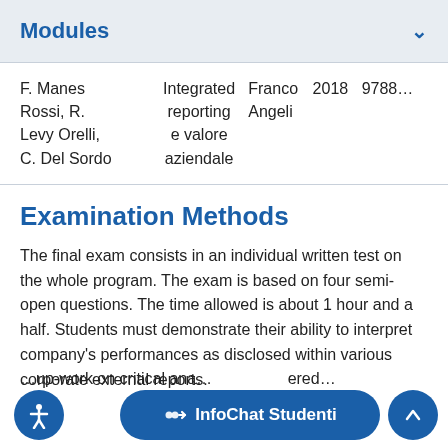Modules
| Author | Title | Publisher | Year | ISBN |
| --- | --- | --- | --- | --- |
| F. Manes Rossi, R. Levy Orelli, C. Del Sordo | Integrated reporting e valore aziendale | Franco Angeli | 2018 | 97888... |
Examination Methods
The final exam consists in an individual written test on the whole program. The exam is based on four semi-open questions. The time allowed is about 1 hour and a half. Students must demonstrate their ability to interpret company's performances as disclosed within various corporate external reports.
...up-work on critical ana... ...ered... the fi...